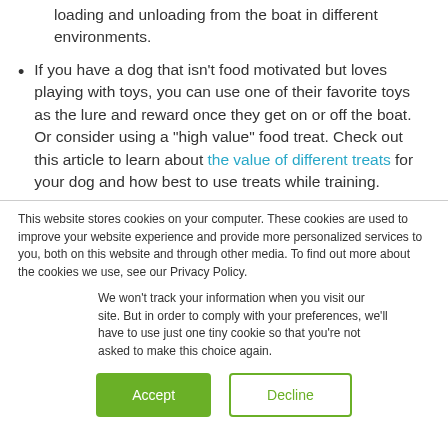loading and unloading from the boat in different environments.
If you have a dog that isn't food motivated but loves playing with toys, you can use one of their favorite toys as the lure and reward once they get on or off the boat. Or consider using a "high value" food treat. Check out this article to learn about the value of different treats for your dog and how best to use treats while training.
This website stores cookies on your computer. These cookies are used to improve your website experience and provide more personalized services to you, both on this website and through other media. To find out more about the cookies we use, see our Privacy Policy.
We won't track your information when you visit our site. But in order to comply with your preferences, we'll have to use just one tiny cookie so that you're not asked to make this choice again.